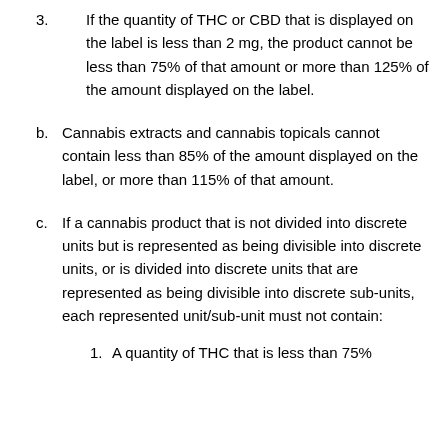3. If the quantity of THC or CBD that is displayed on the label is less than 2 mg, the product cannot be less than 75% of that amount or more than 125% of the amount displayed on the label.
b. Cannabis extracts and cannabis topicals cannot contain less than 85% of the amount displayed on the label, or more than 115% of that amount.
c. If a cannabis product that is not divided into discrete units but is represented as being divisible into discrete units, or is divided into discrete units that are represented as being divisible into discrete sub-units, each represented unit/sub-unit must not contain:
1. A quantity of THC that is less than 75%...